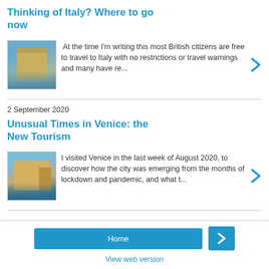Thinking of Italy? Where to go now
[Figure (photo): Photo of Venice waterfront with historic buildings and bell tower]
At the time I'm writing this most British citizens are free to travel to Italy with no restrictions or travel warnings and many have re...
2 September 2020
Unusual Times in Venice: the New Tourism
[Figure (photo): Photo of Venice canal with old buildings and gondola]
I visited Venice in the last week of August 2020, to discover how the city was emerging from the months of lockdown and pandemic, and what t...
Home   View web version